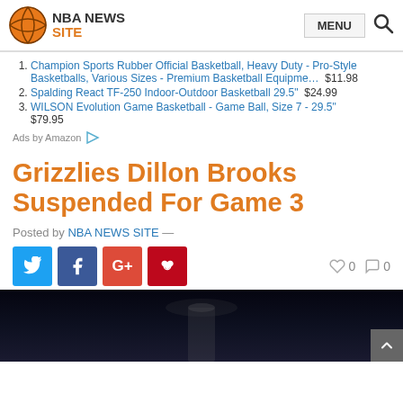NBA NEWS SITE
1. Champion Sports Rubber Official Basketball, Heavy Duty - Pro-Style Basketballs, Various Sizes - Premium Basketball Equipme… $11.98
2. Spalding React TF-250 Indoor-Outdoor Basketball 29.5" $24.99
3. WILSON Evolution Game Basketball - Game Ball, Size 7 - 29.5" $79.95
Ads by Amazon
Grizzlies Dillon Brooks Suspended For Game 3
Posted by NBA NEWS SITE —
[Figure (screenshot): Social share buttons: Twitter, Facebook, Google+, Pinterest; like count 0, comment count 0]
[Figure (photo): Basketball player photo, dark arena background]